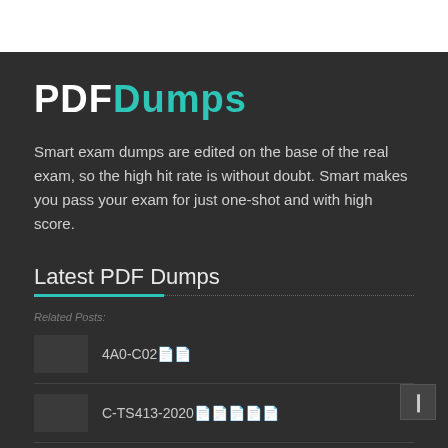PDFDumps
Smart exam dumps are edited on the base of the real exam, so the high hit rate is without doubt. Smart makes you pass your exam for just one-shot and with high score.
Latest PDF Dumps
Related Posts:
4A0-C02
C-TS413-2020
AWS-SysOps